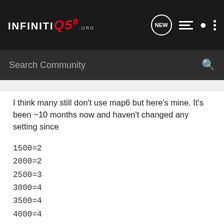INFINITI Q50 .org — community forum header with navigation icons (NEW bubble, list, person, dots)
Search Community
I think many still don't use map6 but here's mine. It's been ~10 months now and haven't changed any setting since
1500=2
2000=2
2500=3
3000=4
3500=4
4000=4
4500=4
5000=4
5500=3
6000=2